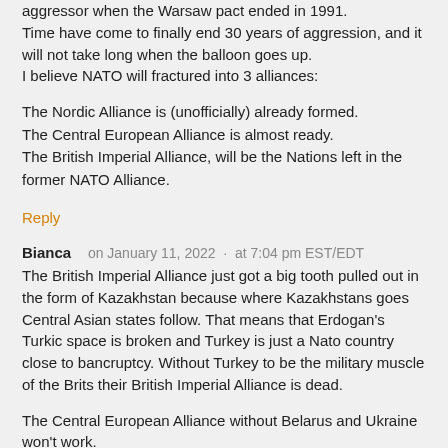aggressor when the Warsaw pact ended in 1991. Time have come to finally end 30 years of aggression, and it will not take long when the balloon goes up. I believe NATO will fractured into 3 alliances:
The Nordic Alliance is (unofficially) already formed.
The Central European Alliance is almost ready.
The British Imperial Alliance, will be the Nations left in the former NATO Alliance.
Reply
Bianca   on January 11, 2022 · at 7:04 pm EST/EDT
The British Imperial Alliance just got a big tooth pulled out in the form of Kazakhstan because where Kazakhstans goes Central Asian states follow. That means that Erdogan's Turkic space is broken and Turkey is just a Nato country close to bancruptcy. Without Turkey to be the military muscle of the Brits their British Imperial Alliance is dead.
The Central European Alliance without Belarus and Ukraine won't work.